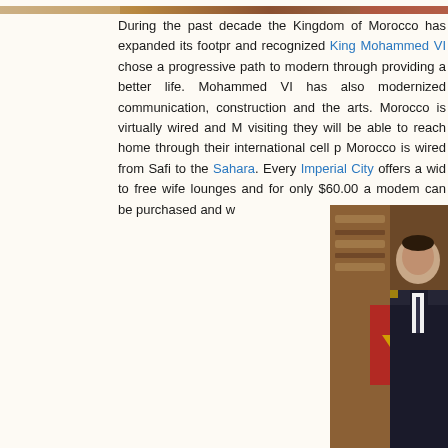[Figure (photo): Top image strip showing partial decorative/ornamental imagery]
During the past decade the Kingdom of Morocco has expanded its footpr... and recognized King Mohammed VI chose a progressive path to modern... through providing a better life. Mohammed VI has also modernized communication, construction and the arts. Morocco is virtually wired and ... visiting they will be able to reach home through their international cell p... Morocco is wired from Safi to the Sahara. Every Imperial City offers a wid... to free wife lounges and for only $60.00 a modem can be purchased and w...
[Figure (photo): Photo of King Mohammed VI seated in formal attire in front of an ornate wooden backdrop with a red flag visible]